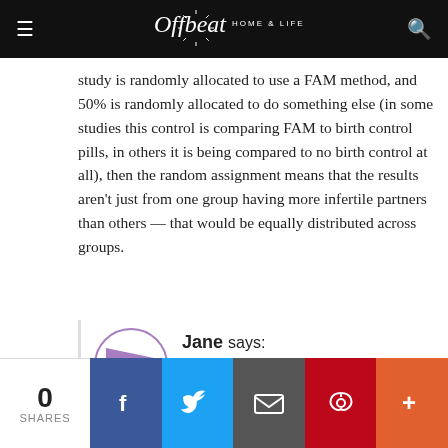Offbeat Home & Life
study is randomly allocated to use a FAM method, and 50% is randomly allocated to do something else (in some studies this control is comparing FAM to birth control pills, in others it is being compared to no birth control at all), then the random assignment means that the results aren't just from one group having more infertile partners than others — that would be equally distributed across groups.
Jane says:
April 25, 2013 at 11:43 am
0 SHARES | Facebook | Twitter | Email | Pinterest | More